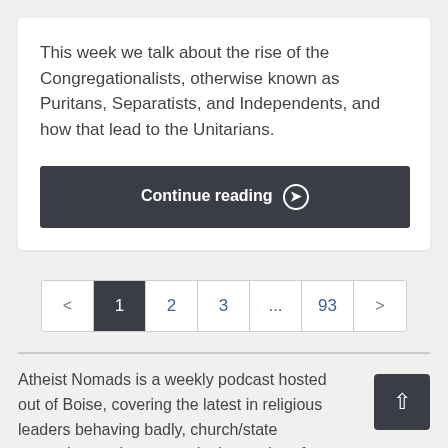This week we talk about the rise of the Congregationalists, otherwise known as Puritans, Separatists, and Independents, and how that lead to the Unitarians.
Continue reading ❯
< 1 2 3 ... 93 >
Atheist Nomads is a weekly podcast hosted out of Boise, covering the latest in religious leaders behaving badly, church/state entanglement issues, and other topics of interests